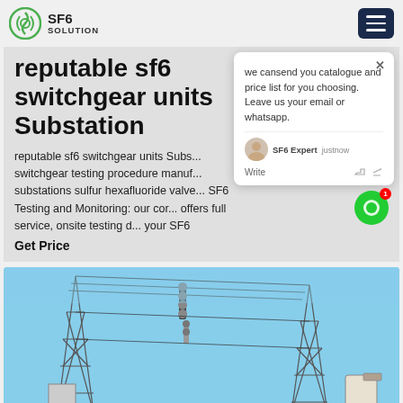SF6 SOLUTION
reputable sf6 switchgear units Substation
reputable sf6 switchgear units Subs... switchgear testing procedure manuf... substations sulfur hexafluoride valve... SF6 Testing and Monitoring: our cor... offers full service, onsite testing d... your SF6
Get Price
[Figure (screenshot): Chat popup overlay with message: we cansend you catalogue and price list for you choosing. Leave us your email or whatsapp. SF6 Expert - justnow. Write.]
[Figure (photo): Electrical substation with high-voltage transmission towers, insulators, and equipment against a blue sky.]